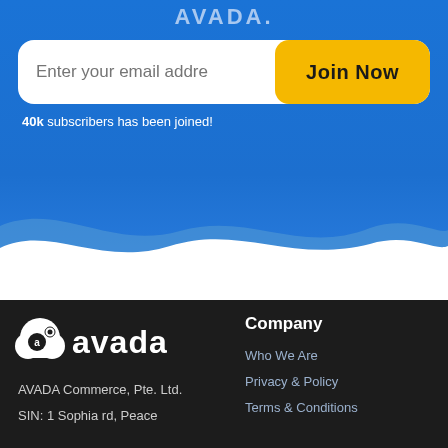AVADA.
[Figure (screenshot): Email subscription form with white rounded input field showing placeholder 'Enter your email addre' and a yellow 'Join Now' button on blue background]
40k subscribers has been joined!
[Figure (illustration): Wave divider between blue section and white/dark footer area]
[Figure (logo): Avada logo: cloud/bubble icon with letter 'a' and wordmark 'avada' in white on dark background]
AVADA Commerce, Pte. Ltd.
SIN: 1 Sophia rd, Peace
Company
Who We Are
Privacy & Policy
Terms & Conditions